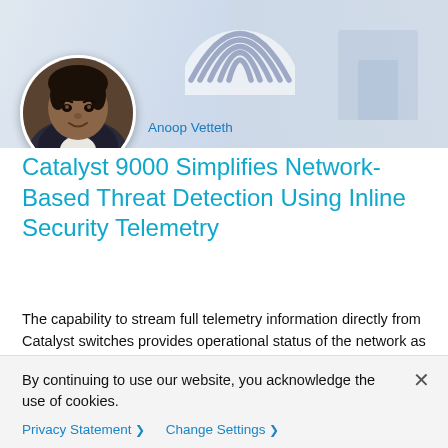[Figure (photo): Header background with Cisco fingerprint/arc logo and blurred office background, plus circular profile photo of Anoop Vetteth (man in dark blazer)]
Anoop Vetteth
Catalyst 9000 Simplifies Network-Based Threat Detection Using Inline Security Telemetry
The capability to stream full telemetry information directly from Catalyst switches provides operational status of the network as well as Deep Packet Inspection of traffic flows so that Cisco DNA Center can detect the true purposes of device-to-device communications and thwart the spread of
By continuing to use our website, you acknowledge the use of cookies.
Privacy Statement > Change Settings >